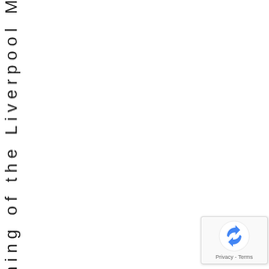opening of the Liverpool M
[Figure (logo): reCAPTCHA logo with circular arrows icon and Privacy - Terms label]